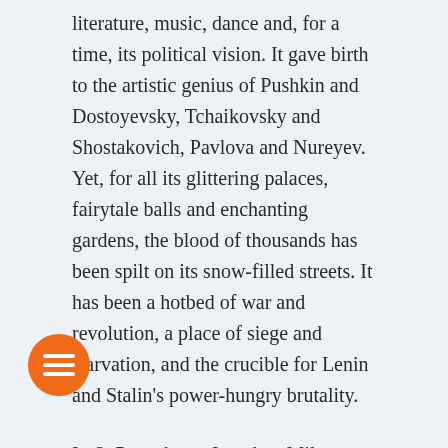literature, music, dance and, for a time, its political vision. It gave birth to the artistic genius of Pushkin and Dostoyevsky, Tchaikovsky and Shostakovich, Pavlova and Nureyev. Yet, for all its glittering palaces, fairytale balls and enchanting gardens, the blood of thousands has been spilt on its snow-filled streets. It has been a hotbed of war and revolution, a place of siege and starvation, and the crucible for Lenin and Stalin's power-hungry brutality.
In St Petersburg, Jonathan Miles recreates the drama of three hundred years in this absurd and brilliant city, bringing us up to the present day, when – once more – its fate hangs in the balance. This is an epic tale of murder, massacre